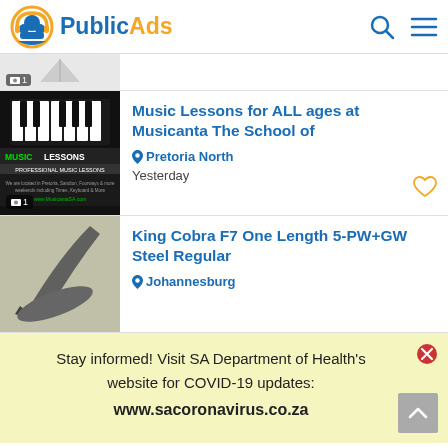PublicAds
[Figure (screenshot): Partial listing card with camera icon and thumbnail]
Music Lessons for ALL ages at Musicanta The School of
Pretoria North
Yesterday
King Cobra F7 One Length 5-PW+GW Steel Regular
Johannesburg
Stay informed! Visit SA Department of Health's website for COVID-19 updates: www.sacoronavirus.co.za